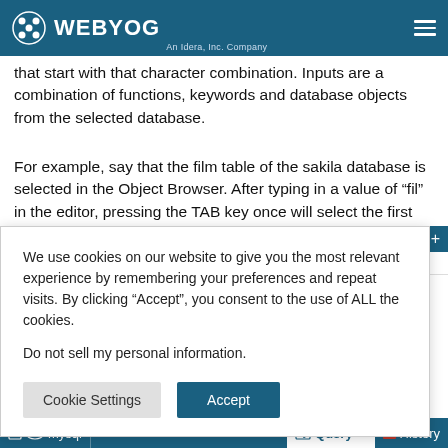WEBYOG An Idera, Inc. Company
that start with that character combination. Inputs are a combination of functions, keywords and database objects from the selected database.
For example, say that the film table of the sakila database is selected in the Object Browser. After typing in a value of “fil” in the editor, pressing the TAB key once will select the first matching word – in this case “film”. Pressing the TAB key a second time will select the next matching word and the selected word is replaced, continuing from there.
We use cookies on our website to give you the most relevant experience by remembering your preferences and repeat visits. By clicking “Accept”, you consent to the use of ALL the cookies.

Do not sell my personal information.
mysql | Query X | History